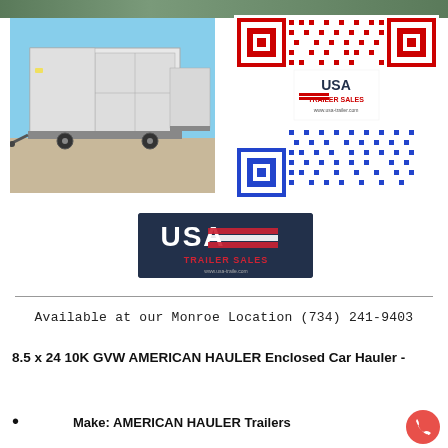[Figure (photo): White enclosed trailer/car hauler photographed outdoors with blue sky background]
[Figure (other): QR code with USA Trailer Sales logo embedded, red and blue colored QR pattern]
[Figure (logo): USA Trailer Sales logo on dark navy background with red stripe design and website url]
Available at our Monroe Location (734) 241-9403
8.5 x 24 10K GVW AMERICAN HAULER Enclosed Car Hauler -
Make: AMERICAN HAULER Trailers